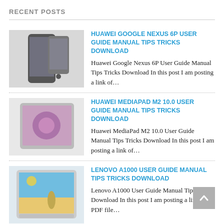RECENT POSTS
[Figure (photo): Huawei Google Nexus 6P smartphone image]
HUAWEI GOOGLE NEXUS 6P USER GUIDE MANUAL TIPS TRICKS DOWNLOAD
Huawei Google Nexus 6P User Guide Manual Tips Tricks Download In this post I am posting a link of…
[Figure (photo): Huawei MediaPad M2 10.0 tablet image]
HUAWEI MEDIAPAD M2 10.0 USER GUIDE MANUAL TIPS TRICKS DOWNLOAD
Huawei MediaPad M2 10.0 User Guide Manual Tips Tricks Download In this post I am posting a link of…
[Figure (photo): Lenovo A1000 tablet image]
LENOVO A1000 USER GUIDE MANUAL TIPS TRICKS DOWNLOAD
Lenovo A1000 User Guide Manual Tips Tricks Download In this post I am posting a link of PDF file…
[Figure (photo): LG K10 smartphone image]
LG K10 USER GUIDE MANUAL TIPS TRICKS DOWNLOAD
LG K10 User Guide Manual Tips Tricks Download